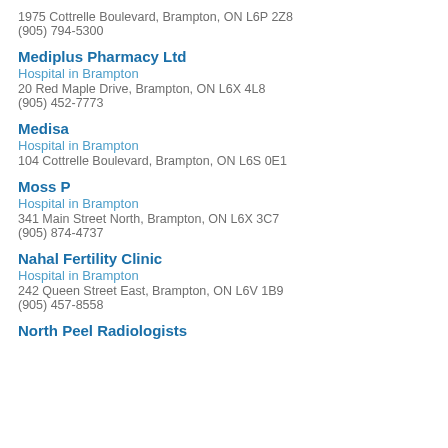1975 Cottrelle Boulevard, Brampton, ON L6P 2Z8
(905) 794-5300
Mediplus Pharmacy Ltd
Hospital in Brampton
20 Red Maple Drive, Brampton, ON L6X 4L8
(905) 452-7773
Medisa
Hospital in Brampton
104 Cottrelle Boulevard, Brampton, ON L6S 0E1
Moss P
Hospital in Brampton
341 Main Street North, Brampton, ON L6X 3C7
(905) 874-4737
Nahal Fertility Clinic
Hospital in Brampton
242 Queen Street East, Brampton, ON L6V 1B9
(905) 457-8558
North Peel Radiologists